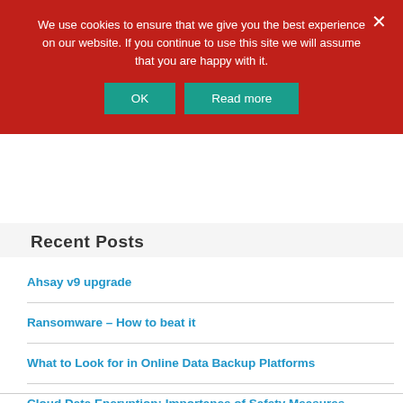We use cookies to ensure that we give you the best experience on our website. If you continue to use this site we will assume that you are happy with it.
Recent Posts
Ahsay v9 upgrade
Ransomware – How to beat it
What to Look for in Online Data Backup Platforms
Cloud Data Encryption: Importance of Safety Measures
£250 storage credit when upgrading from another online backup service